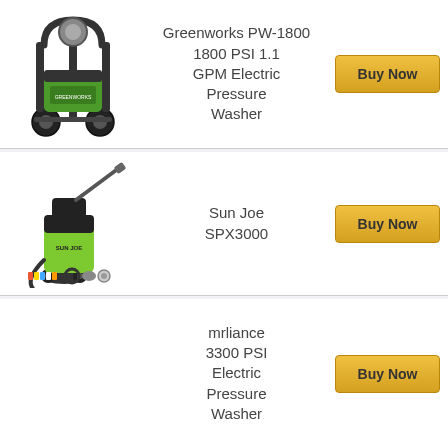[Figure (photo): Greenworks PW-1800 electric pressure washer product image - black and green wheeled unit]
Greenworks PW-1800 1800 PSI 1.1 GPM Electric Pressure Washer
Buy Now
[Figure (photo): Sun Joe SPX3000 electric pressure washer product image - green unit with lance and accessories]
Sun Joe SPX3000
Buy Now
mrliance 3300 PSI Electric Pressure Washer
Buy Now